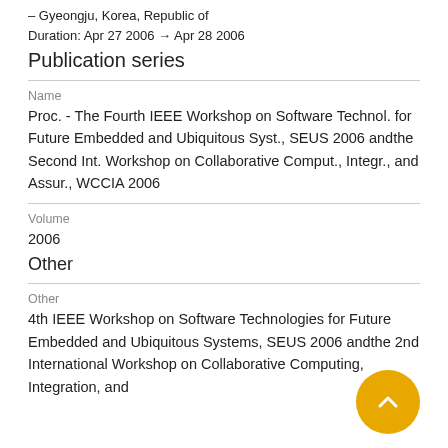– Gyeongju, Korea, Republic of
Duration: Apr 27 2006 → Apr 28 2006
Publication series
Name
Proc. - The Fourth IEEE Workshop on Software Technol. for Future Embedded and Ubiquitous Syst., SEUS 2006 andthe Second Int. Workshop on Collaborative Comput., Integr., and Assur., WCCIA 2006
Volume
2006
Other
Other
4th IEEE Workshop on Software Technologies for Future Embedded and Ubiquitous Systems, SEUS 2006 andthe 2nd International Workshop on Collaborative Computing, Integration, and